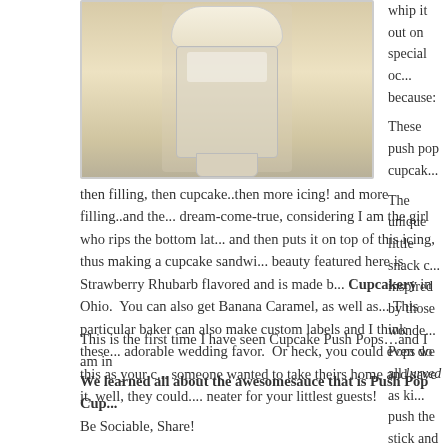[Figure (photo): A push pop cupcake container with white frosting and what appears to be a strawberry rhubarb flavored cupcake inside a clear plastic push-pop tube.]
whip it out on special oc... because:
These push pop cupcak...
The unique little snack c... inspired by those wonde... Pops we all lurved as ki... push the stick and out c... then filling, then cupcake..then more icing! and more filling..and the... dream-come-true, considering I am the girl who rips the bottom lat... and then puts it on top of this icing, thus making a cupcake sandwi... beauty featured here is Strawberry Rhubarb flavored and is made b... Cupcakery in Ohio. You can also get Banana Caramel, as well as... This particular baker can also make custom labels and I think these... adorable wedding favor. Or heck, you could even do this as your c... someone wanted to take theirs home and save it, well, they could.... neater for your littlest guests!
This is the first time I have seen Cupcake Push Pops…and I am in
We learned all about the awesomesauce that is Push Pop Cup...
Be Sociable, Share!